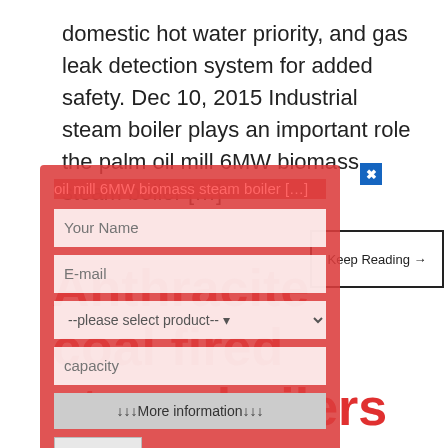domestic hot water priority, and gas leak detection system for added safety. Dec 10, 2015 Industrial steam boiler plays an important role the palm oil mill 6MW biomass steam boiler […]
[Figure (screenshot): A contact/inquiry form overlay with red background on top of the article text. Contains fields: Your Name, E-mail, product selector dropdown (--please select product--), capacity input, More information button, and Submit button. A blue close X button is in the top-right of the overlay.]
Keep Reading →
Anthracite coal fired steam boilers